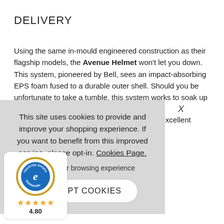DELIVERY
Using the same in-mould engineered construction as their flagship models, the Avenue Helmet won't let you down. This system, pioneered by Bell, sees an impact-absorbing EPS foam fused to a durable outer shell. Should you be unfortunate to take a tumble, this system works to soak up
g excellent
This site uses cookies to provide and improve your shopping experience. If you want to benefit from this improved service, please opt-in. Cookies Page.
in to a better browsing experience
ACCEPT COOKIES
[Figure (logo): Trusted Shops guarantee badge with star rating 4.80]
4.80